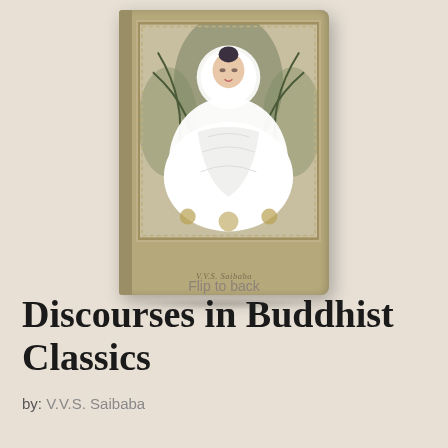[Figure (illustration): Book cover of 'Discourses in Buddhist Classics' by V.V.S. Saibaba. The cover is tan/khaki colored with an illustration of a seated Buddha figure in white robes with a halo, surrounded by tropical foliage and decorative border motifs.]
Flip to back
Discourses in Buddhist Classics
by: V.V.S. Saibaba